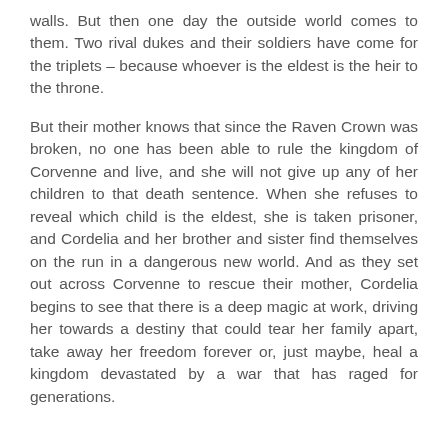walls. But then one day the outside world comes to them. Two rival dukes and their soldiers have come for the triplets – because whoever is the eldest is the heir to the throne.
But their mother knows that since the Raven Crown was broken, no one has been able to rule the kingdom of Corvenne and live, and she will not give up any of her children to that death sentence. When she refuses to reveal which child is the eldest, she is taken prisoner, and Cordelia and her brother and sister find themselves on the run in a dangerous new world. And as they set out across Corvenne to rescue their mother, Cordelia begins to see that there is a deep magic at work, driving her towards a destiny that could tear her family apart, take away her freedom forever or, just maybe, heal a kingdom devastated by a war that has raged for generations.